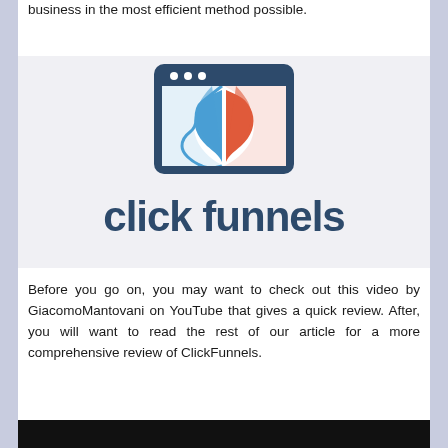business in the most efficient method possible.
In this review, we'll look at their most popular features, the best ways to use ClickFunnels Pricing, features, and more.
[Figure (logo): ClickFunnels logo: a dark blue rounded rectangle browser window icon with blue and red funnel shapes inside, and the text 'click funnels' below in dark blue sans-serif font on a light gray background.]
Before you go on, you may want to check out this video by GiacomoMantovani on YouTube that gives a quick review. After, you will want to read the rest of our article for a more comprehensive review of ClickFunnels.
[Figure (screenshot): Video thumbnail at the bottom of the page, dark background.]